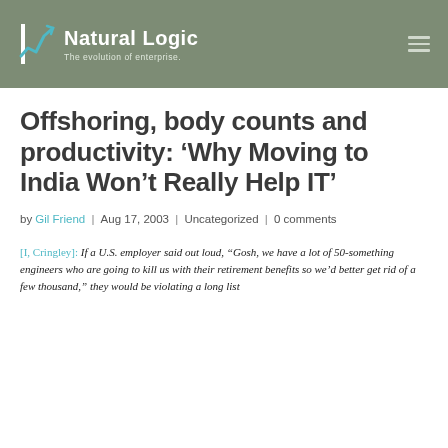Natural Logic | The evolution of enterprise.
Offshoring, body counts and productivity: ‘Why Moving to India Won’t Really Help IT’
by Gil Friend | Aug 17, 2003 | Uncategorized | 0 comments
[I, Cringley]: If a U.S. employer said out loud, “Gosh, we have a lot of 50-something engineers who are going to kill us with their retirement benefits so we’d better get rid of a few thousand,” they would be violating a long list